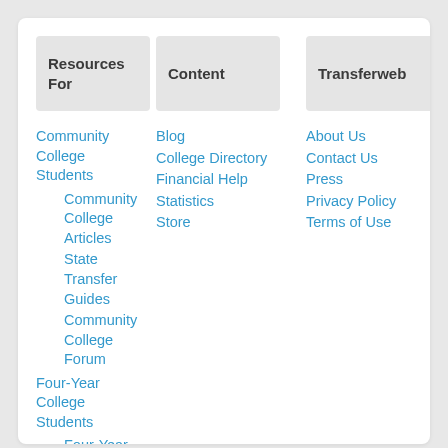Resources For
Content
Transferweb
Community College Students
Community College Articles
State Transfer Guides
Community College Forum
Four-Year College Students
Four-Year...
Blog
College Directory
Financial Help
Statistics
Store
About Us
Contact Us
Press
Privacy Policy
Terms of Use